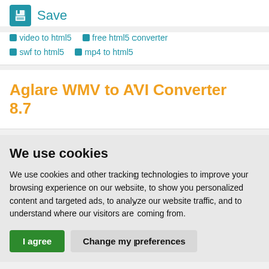[Figure (screenshot): Save icon - floppy disk symbol in white on teal/blue square background]
Save
video to html5
free html5 converter
swf to html5
mp4 to html5
Aglare WMV to AVI Converter 8.7
We use cookies
We use cookies and other tracking technologies to improve your browsing experience on our website, to show you personalized content and targeted ads, to analyze our website traffic, and to understand where our visitors are coming from.
I agree   Change my preferences